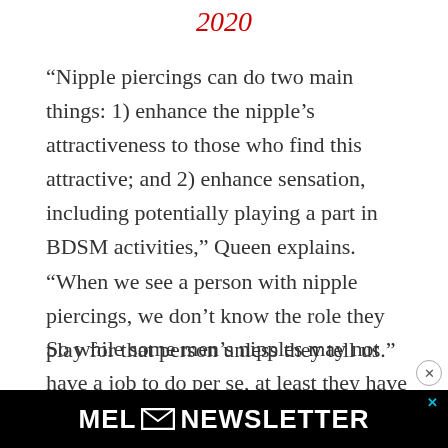2020
“Nipple piercings can do two main things: 1) enhance the nipple’s attractiveness to those who find this attractive; and 2) enhance sensation, including potentially playing a part in BDSM activities,” Queen explains. “When we see a person with nipple piercings, we don’t know the role they play for that person unless they tell us.”
So while some men’s nipples may not have a job to do per se, at least they have a hobby. And as much as evolution hasn’t had a good reason to phase them out, maybe it’s time for this question to
[Figure (other): MEL Newsletter advertisement banner in black with white bold text reading MEL NEWSLETTER, with an envelope icon and a close/X button]